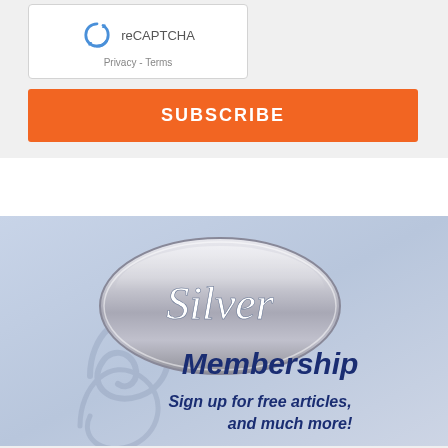[Figure (screenshot): reCAPTCHA widget with recycling arrow icon, 'reCAPTCHA' label, and 'Privacy - Terms' links below]
SUBSCRIBE
[Figure (illustration): Silver Membership banner with silver oval badge with 'Silver' in cursive script, 'Membership' in bold italic dark blue text, and 'Sign up for free articles, and much more!' text on a periwinkle blue background with decorative swirls]